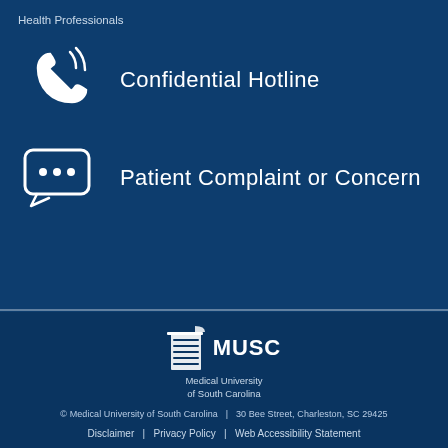Health Professionals
Confidential Hotline
Patient Complaint or Concern
[Figure (logo): MUSC Medical University of South Carolina logo — building icon with horizontal lines beside MUSC text]
© Medical University of South Carolina | 30 Bee Street, Charleston, SC 29425
Disclaimer | Privacy Policy | Web Accessibility Statement